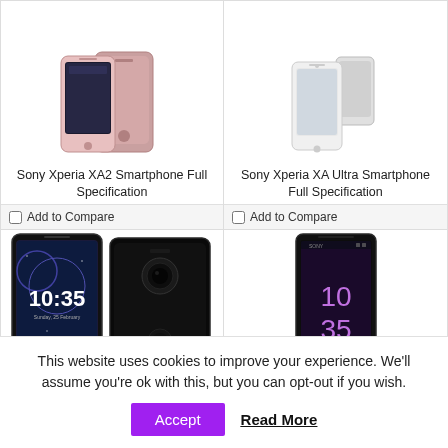[Figure (photo): Sony Xperia XA2 smartphone - pink/rose gold color, front and back view]
Sony Xperia XA2 Smartphone Full Specification
Add to Compare
[Figure (photo): Sony Xperia XA Ultra smartphone - silver/white color]
Sony Xperia XA Ultra Smartphone Full Specification
Add to Compare
[Figure (photo): Sony Xperia XZ2 smartphone - black color, front and back view showing 10:35 time]
[Figure (photo): Sony Xperia smartphone - black, showing 10 35 on screen]
This website uses cookies to improve your experience. We'll assume you're ok with this, but you can opt-out if you wish.
Accept
Read More